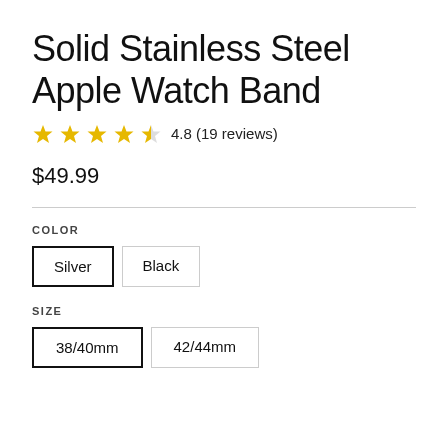Solid Stainless Steel Apple Watch Band
4.8 (19 reviews)
$49.99
COLOR
Silver
Black
SIZE
38/40mm
42/44mm